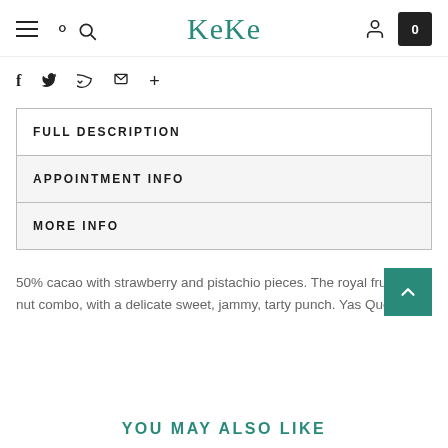KeKe — navigation bar with hamburger, search, logo, user icon, cart (0)
f  t  p  mail  +  (social share icons)
FULL DESCRIPTION
APPOINTMENT INFO
MORE INFO
50% cacao with strawberry and pistachio pieces. The royal fruit and nut combo, with a delicate sweet, jammy, tarty punch. Yas Queen.
YOU MAY ALSO LIKE